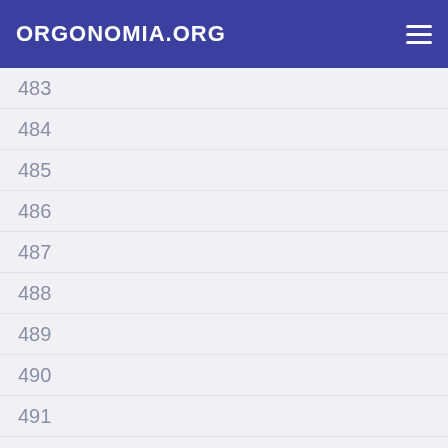ORGONOMIA.ORG
483
484
485
486
487
488
489
490
491
492
493
494
495
496
497